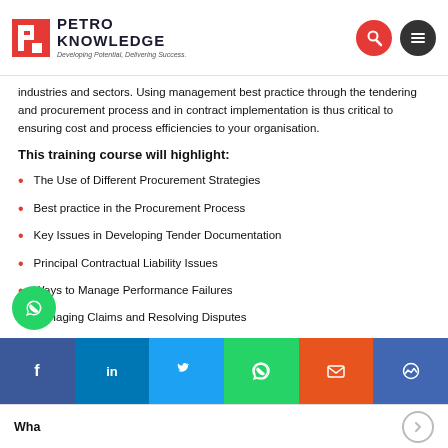[Figure (logo): Petro Knowledge logo with red icon and text 'PETRO KNOWLEDGE — Developing Potential, Delivering Success.']
industries and sectors. Using management best practice through the tendering and procurement process and in contract implementation is thus critical to ensuring cost and process efficiencies to your organisation.
This training course will highlight:
The Use of Different Procurement Strategies
Best practice in the Procurement Process
Key Issues in Developing Tender Documentation
Principal Contractual Liability Issues
Ways to Manage Performance Failures
Managing Claims and Resolving Disputes
Wha